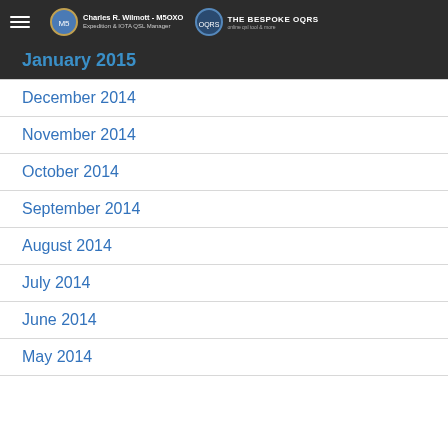Charles R. Wilmott - M5OXO | Expedition & IOTA QSL Manager | THE BESPOKE OQRS
January 2015
December 2014
November 2014
October 2014
September 2014
August 2014
July 2014
June 2014
May 2014